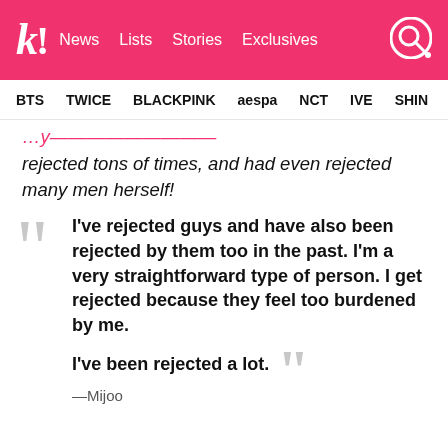k! News  Lists  Stories  Exclusives
BTS  TWICE  BLACKPINK  aespa  NCT  IVE  SHINee
rejected tons of times, and had even rejected many men herself!
I've rejected guys and have also been rejected by them too in the past. I'm a very straightforward type of person. I get rejected because they feel too burdened by me.

I've been rejected a lot.

—Mijoo